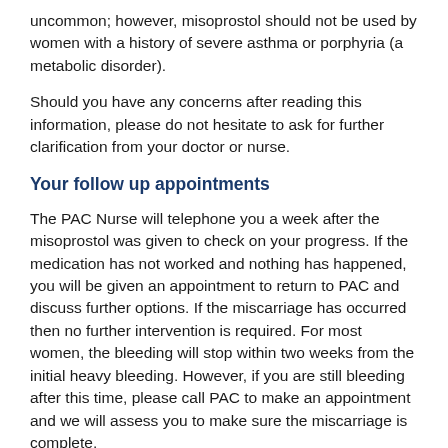uncommon; however, misoprostol should not be used by women with a history of severe asthma or porphyria (a metabolic disorder).
Should you have any concerns after reading this information, please do not hesitate to ask for further clarification from your doctor or nurse.
Your follow up appointments
The PAC Nurse will telephone you a week after the misoprostol was given to check on your progress. If the medication has not worked and nothing has happened, you will be given an appointment to return to PAC and discuss further options. If the miscarriage has occurred then no further intervention is required. For most women, the bleeding will stop within two weeks from the initial heavy bleeding. However, if you are still bleeding after this time, please call PAC to make an appointment and we will assess you to make sure the miscarriage is complete.
If your miscarriage has not been completed then you have the option to either give it more time, have another two doses of misoprostol or to have a surgical procedure called a curette. The PAC nurse will continue to follow you up via telephone until the